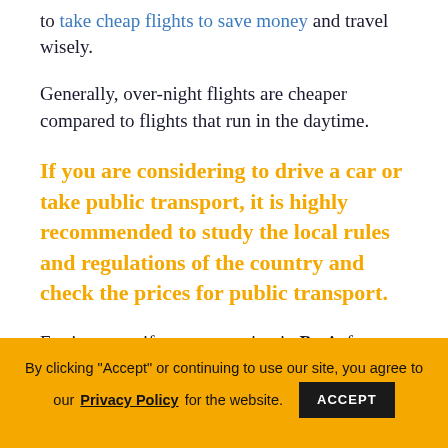to take cheap flights to save money and travel wisely.
Generally, over-night flights are cheaper compared to flights that run in the daytime.
If you are considering to drive a car or take public transport, it is highly recommended to study the local rules and regulations of the country and check the prices for public transport.
For instance, if you are staying in Paris for more
By clicking "Accept" or continuing to use our site, you agree to our Privacy Policy for the website. ACCEPT